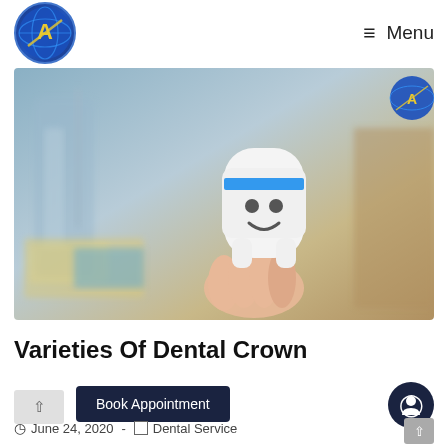Menu
[Figure (photo): A hand holding a white smiling tooth figurine/toy with a blue stripe, set against a blurred dental office background.]
Varieties Of Dental Crown
June 24, 2020 - Dental Service